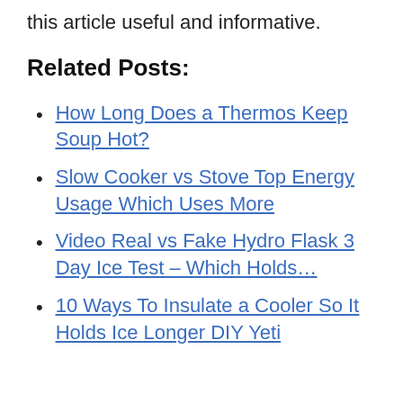this article useful and informative.
Related Posts:
How Long Does a Thermos Keep Soup Hot?
Slow Cooker vs Stove Top Energy Usage Which Uses More
Video Real vs Fake Hydro Flask 3 Day Ice Test – Which Holds…
10 Ways To Insulate a Cooler So It Holds Ice Longer DIY Yeti